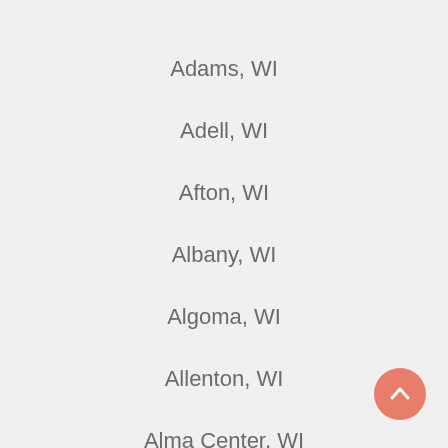Adams, WI
Adell, WI
Afton, WI
Albany, WI
Algoma, WI
Allenton, WI
Alma Center, WI
[Figure (illustration): Back to top button — a salmon/coral colored circle with a white upward chevron arrow]